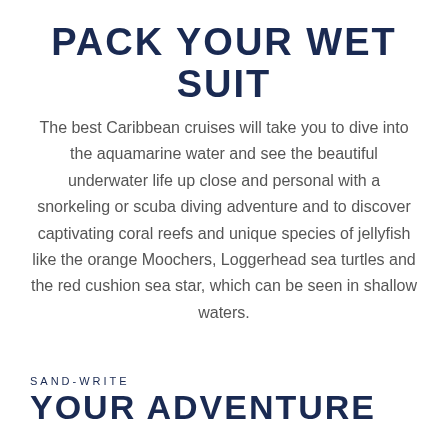PACK YOUR WET SUIT
The best Caribbean cruises will take you to dive into the aquamarine water and see the beautiful underwater life up close and personal with a snorkeling or scuba diving adventure and to discover captivating coral reefs and unique species of jellyfish like the orange Moochers, Loggerhead sea turtles and the red cushion sea star, which can be seen in shallow waters.
SAND-WRITE
YOUR ADVENTURE